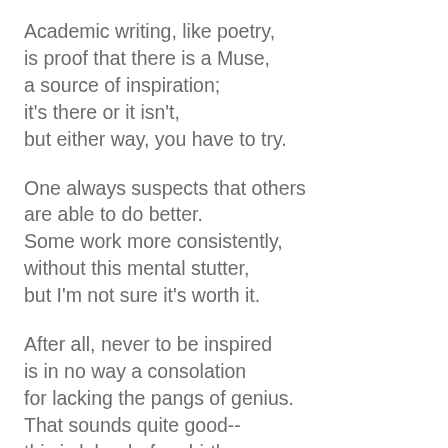Academic writing, like poetry,
is proof that there is a Muse,
a source of inspiration;
it's there or it isn't,
but either way, you have to try.
One always suspects that others
are able to do better.
Some work more consistently,
without this mental stutter,
but I'm not sure it's worth it.
After all, never to be inspired
is in no way a consolation
for lacking the pangs of genius.
That sounds quite good--
this is labor before birth.
Or perhaps it's mental aridity.
Those monks in the desert knew
that sometimes inspiration fails;